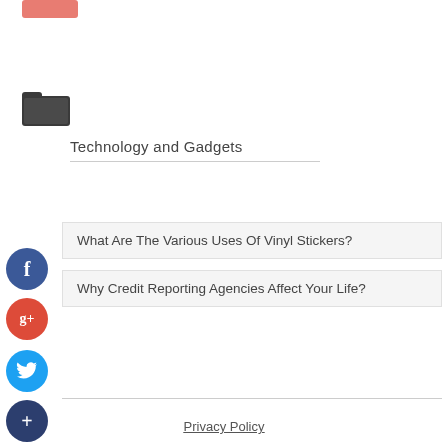[Figure (other): Pink/salmon colored button at top left]
[Figure (other): Open folder icon in dark gray]
Technology and Gadgets
What Are The Various Uses Of Vinyl Stickers?
Why Credit Reporting Agencies Affect Your Life?
[Figure (other): Facebook social share button (blue circle with f)]
[Figure (other): Google Plus social share button (red circle with g+)]
[Figure (other): Twitter social share button (blue circle with bird icon)]
[Figure (other): More/Add social share button (dark blue circle with +)]
Privacy Policy